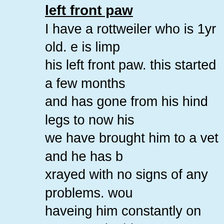left front paw
I have a rottweiler who is 1yr old. e is limping on his left front paw. this started a few months and has gone from his hind legs to now his we have brought him to a vet and he has b xrayed with no signs of any problems. wou haveing him constantly on concrete do this him and what can i give him to releive the he also has a bubble on his eye that the ve said his 3rd eye was infected he gave us fucithalmic vet but its not cleared up what give him for this
My dogs are having a hard time walking and doesn't want to eat
why won't she eat? my dog had puppys 5 ago last nite she was fine to day she havin hard time walking and doesn't want to eat